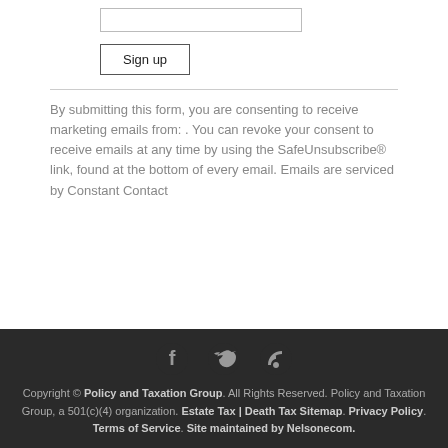[input field]
Sign up
By submitting this form, you are consenting to receive marketing emails from: . You can revoke your consent to receive emails at any time by using the SafeUnsubscribe® link, found at the bottom of every email. Emails are serviced by Constant Contact
[Figure (other): Social media icons: Facebook (f), Twitter (bird), RSS feed]
Copyright © Policy and Taxation Group. All Rights Reserved. Policy and Taxation Group, a 501(c)(4) organization. Estate Tax | Death Tax Sitemap. Privacy Policy. Terms of Service. Site maintained by Nelsonecom.